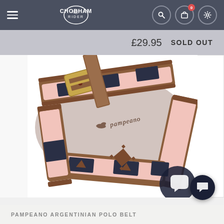Chobham Rider — navigation header with hamburger menu, logo, search, basket (0), settings icons
£29.95   SOLD OUT
[Figure (photo): Close-up photo of a Pampeano Argentinian Polo Belt. A brown leather belt with a gold/brass buckle, decorated with pink and dark navy blue geometric patterns in a traditional Argentine polo style. The brand name 'pampeano' is embossed on the leather. The belt is shown coiled/folded.]
PAMPEANO ARGENTINIAN POLO BELT